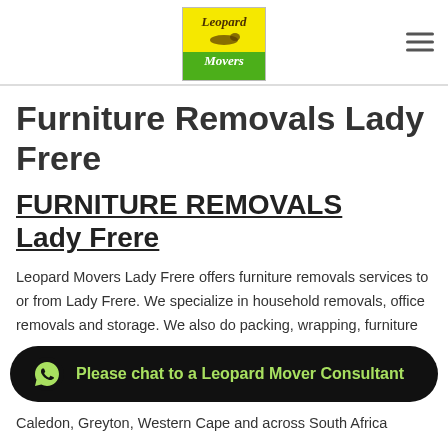[Figure (logo): Leopard Movers logo — yellow and green background with a leaping leopard silhouette and cursive text 'Leopard Movers']
Furniture Removals Lady Frere
FURNITURE REMOVALS Lady Frere
Leopard Movers Lady Frere offers furniture removals services to or from Lady Frere. We specialize in household removals, office removals and storage. We also do packing, wrapping, furniture
Please chat to a Leopard Mover Consultant
Caledon, Greyton, Western Cape and across South Africa